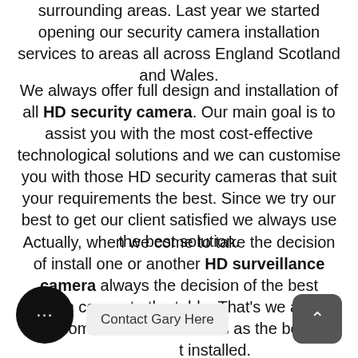surrounding areas. Last year we started opening our security camera installation services to areas all across England Scotland and Wales.
We always offer full design and installation of all HD security camera. Our main goal is to assist you with the most cost-effective technological solutions and we can customise you with those HD security cameras that suit your requirements the best. Since we try our best to get our client satisfied we always use the best solution.
Actually, when we come to take the decision of install one or another HD surveillance camera always the decision of the best solution comes to the table. That's we always recommend TVI cameras as the best t installed.